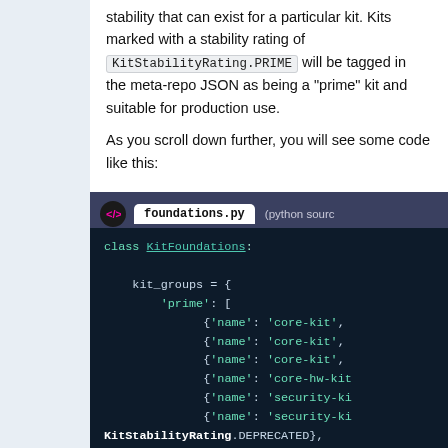stability that can exist for a particular kit. Kits marked with a stability rating of KitStabilityRating.PRIME will be tagged in the meta-repo JSON as being a "prime" kit and suitable for production use.
As you scroll down further, you will see some code like this:
[Figure (screenshot): Python code block showing foundations.py with class KitFoundations definition including kit_groups dictionary with prime list containing entries for core-kit, core-hw-kit, security-kit with KitStabilityRating.DEPRECATED, security-ki, xorg-kit with KitStabilityRating.PRIME]